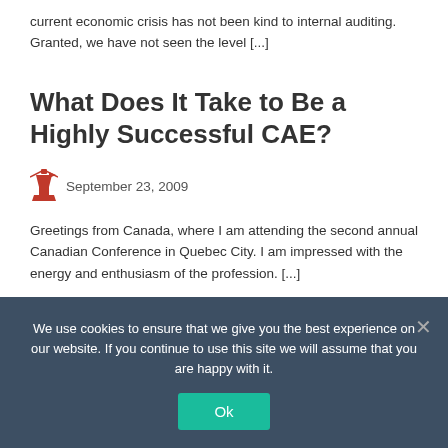current economic crisis has not been kind to internal auditing. Granted, we have not seen the level [...]
What Does It Take to Be a Highly Successful CAE?
September 23, 2009
Greetings from Canada, where I am attending the second annual Canadian Conference in Quebec City. I am impressed with the energy and enthusiasm of the profession. [...]
We use cookies to ensure that we give you the best experience on our website. If you continue to use this site we will assume that you are happy with it.